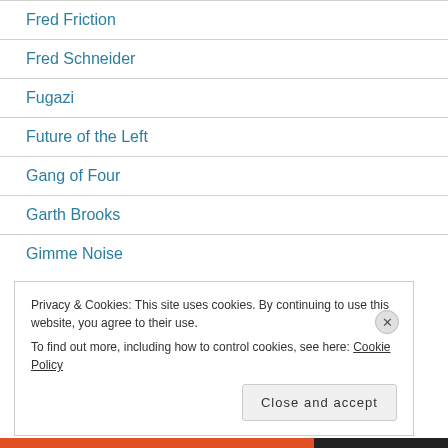Fred Friction
Fred Schneider
Fugazi
Future of the Left
Gang of Four
Garth Brooks
Gimme Noise
Privacy & Cookies: This site uses cookies. By continuing to use this website, you agree to their use. To find out more, including how to control cookies, see here: Cookie Policy
Close and accept